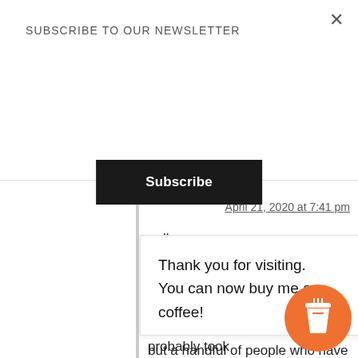SUBSCRIBE TO OUR NEWSLETTER
Subscribe
April 21, 2020 at 7:41 pm
golly so sorry to read this Monique! I have had plenty of people cook this with great success but a handful of people who have had the similar issue as you. I wonder if the dish is an issue? I will make
Thank you for visiting. You can now buy me a coffee!
enjoyed it, even thought it probably took